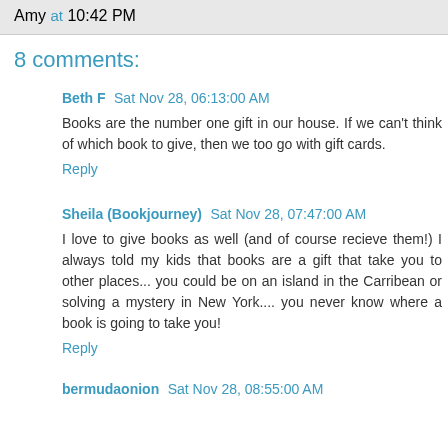Amy at 10:42 PM
8 comments:
Beth F  Sat Nov 28, 06:13:00 AM
Books are the number one gift in our house. If we can't think of which book to give, then we too go with gift cards.
Reply
Sheila (Bookjourney)  Sat Nov 28, 07:47:00 AM
I love to give books as well (and of course recieve them!) I always told my kids that books are a gift that take you to other places... you could be on an island in the Carribean or solving a mystery in New York.... you never know where a book is going to take you!
Reply
bermudaonion  Sat Nov 28, 08:55:00 AM